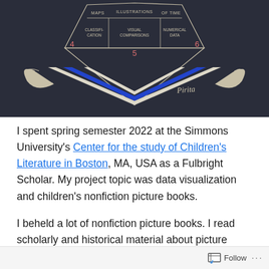[Figure (infographic): Dark background infographic showing a diamond/gem shape with sections labeled: MAPS, ILLUSTRATIONS, OF TIME, CLASSIFI-CATION (4), VISUAL COMPARISONS (5), NUMERICAL DATA (6). Below the diamond is a decorative ribbon/banner shape in blue and white with a cursive signature 'Pirita'.]
I spent spring semester 2022 at the Simmons University's Center for the study of Children's Literature in Boston, MA, USA as a Fulbright Scholar. My project topic was data visualization and children's nonfiction picture books.
I beheld a lot of nonfiction picture books. I read scholarly and historical material about picture books and all kinds and qualities of nonfiction. I interviewed
Follow ···